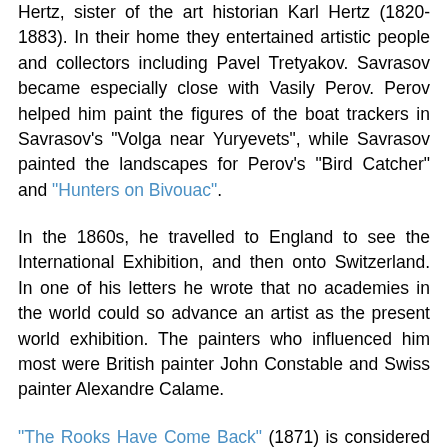Hertz, sister of the art historian Karl Hertz (1820-1883). In their home they entertained artistic people and collectors including Pavel Tretyakov. Savrasov became especially close with Vasily Perov. Perov helped him paint the figures of the boat trackers in Savrasov's "Volga near Yuryevets", while Savrasov painted the landscapes for Perov's "Bird Catcher" and "Hunters on Bivouac".
In the 1860s, he travelled to England to see the International Exhibition, and then onto Switzerland. In one of his letters he wrote that no academies in the world could so advance an artist as the present world exhibition. The painters who influenced him most were British painter John Constable and Swiss painter Alexandre Calame.
"The Rooks Have Come Back" (1871) is considered by many critics to be the high point in Savrasov's artistic career. Using a common, even trivial, episode